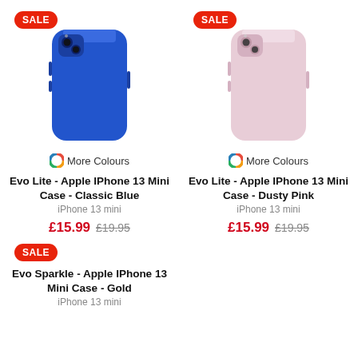[Figure (photo): Blue iPhone 13 mini case - Evo Lite Classic Blue]
[Figure (photo): Pink iPhone 13 mini case - Evo Lite Dusty Pink]
More Colours
More Colours
Evo Lite - Apple IPhone 13 Mini Case - Classic Blue
iPhone 13 mini
£15.99  £19.95
Evo Lite - Apple IPhone 13 Mini Case - Dusty Pink
iPhone 13 mini
£15.99  £19.95
Evo Sparkle - Apple IPhone 13 Mini Case - Gold
iPhone 13 mini